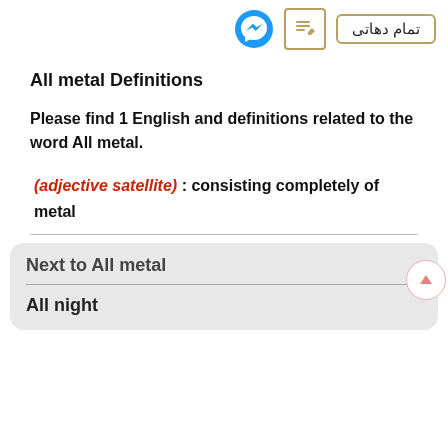[Figure (screenshot): Top bar with Facebook Messenger icon, edit/pencil icon in a gold border, and a button labeled تمام دهاتی in gold border, aligned to the right]
All metal Definitions
Please find 1 English and definitions related to the word All metal.
(adjective satellite) : consisting completely of metal
Next to All metal
All night